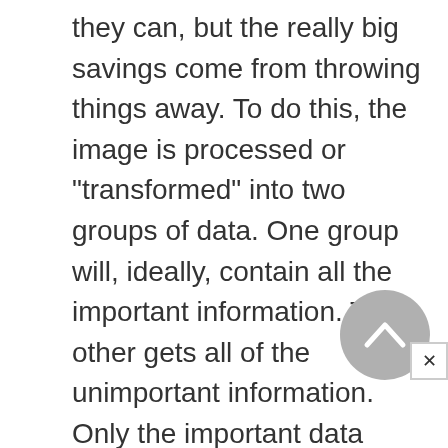they can, but the really big savings come from throwing things away. To do this, the image is processed or "transformed" into two groups of data. One group will, ideally, contain all the important information. The other gets all of the unimportant information. Only the important data needs to be kept and transmitted.

Lossy compression systems take the performance of the human eye into account as they decide what